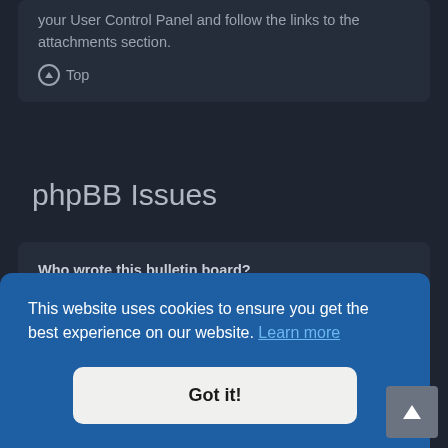your User Control Panel and follow the links to the attachments section.
⬆ Top
phpBB Issues
Who wrote this bulletin board?
This software (in its unmodified form) is produced, released and is copyright phpBB Limited. It is made available under the GNU General Public License, version 2 (GPL-2.0) and may be freely distributed. See About phpBB for more details.
This website uses cookies to ensure you get the best experience on our website. Learn more
Got it!